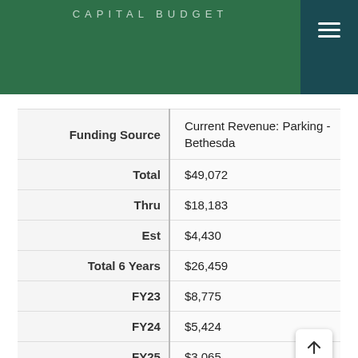CAPITAL BUDGET
| Field | Value |
| --- | --- |
| Funding Source | Current Revenue: Parking - Bethesda |
| Total | $49,072 |
| Thru | $18,183 |
| Est | $4,430 |
| Total 6 Years | $26,459 |
| FY23 | $8,775 |
| FY24 | $5,424 |
| FY25 | $3,065 |